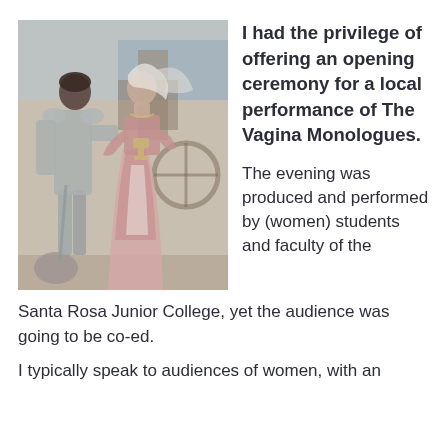[Figure (illustration): Pre-Raphaelite style painting depicting a knight in armor and a woman in a pink dress facing each other, likely from a medieval romantic scene, with muted/faded colors]
I had the privilege of offering an opening ceremony for a local performance of The Vagina Monologues. The evening was produced and performed by (women) students and faculty of the Santa Rosa Junior College, yet the audience was going to be co-ed.
I typically speak to audiences of women, with an